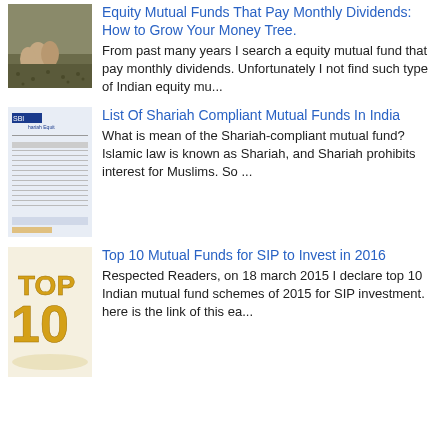[Figure (photo): Thumbnail photo showing hands/coins in soil]
Equity Mutual Funds That Pay Monthly Dividends: How to Grow Your Money Tree.
From past many years I search a equity mutual fund that pay monthly dividends.  Unfortunately I not find such type of Indian equity mu...
[Figure (screenshot): Thumbnail screenshot of SBI Shariah Equity fund document]
List Of Shariah Compliant Mutual Funds In India
What is mean of the Shariah-compliant mutual fund? Islamic law is known as Shariah, and Shariah prohibits interest for Muslims.   So ...
[Figure (photo): Thumbnail image of golden Top 10 trophy/text]
Top 10 Mutual Funds for SIP to Invest in 2016
Respected Readers, on 18 march 2015 I declare top 10 Indian mutual fund schemes of 2015 for SIP investment. here is the link of this ea...